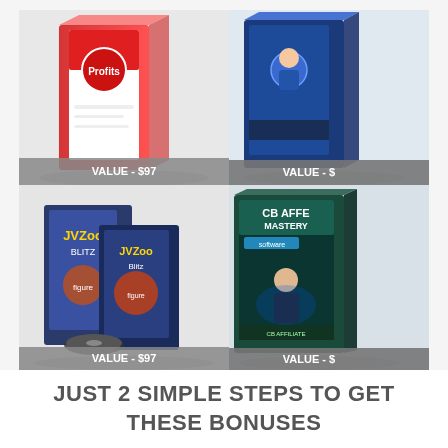[Figure (illustration): Four product box images arranged in a 2x2 grid. Top left: a red and white product box with 'VALUE - $97' label at the bottom. Top right: a blue product box partially visible, also with 'VALUE - $' label. Bottom left: JV Zoo themed product set with DVDs and boxes showing 'VALUE - $97'. Bottom right: CB Affiliate Mastery product box with a person figure, partially visible, 'VALUE - $' label.]
JUST 2 SIMPLE STEPS TO GET THESE BONUSES